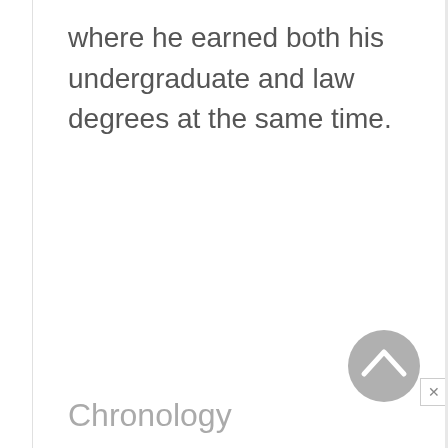where he earned both his undergraduate and law degrees at the same time.
Chronology